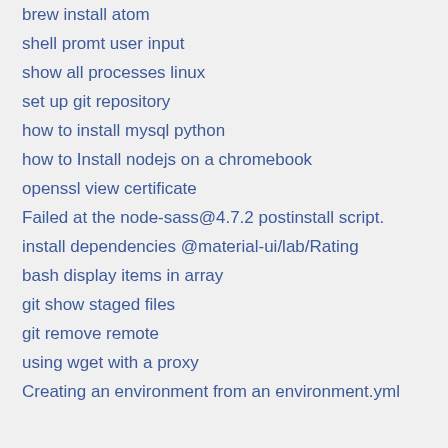brew install atom
shell promt user input
show all processes linux
set up git repository
how to install mysql python
how to Install nodejs on a chromebook
openssl view certificate
Failed at the node-sass@4.7.2 postinstall script.
install dependencies @material-ui/lab/Rating
bash display items in array
git show staged files
git remove remote
using wget with a proxy
Creating an environment from an environment.yml